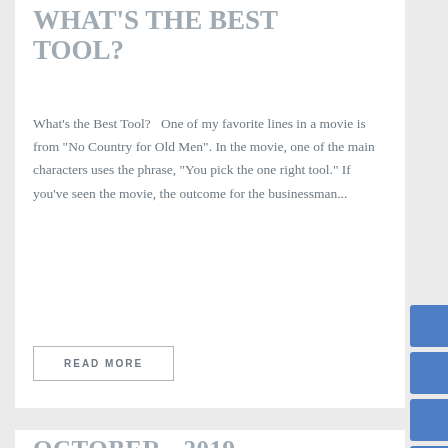WHAT'S THE BEST TOOL?
What's the Best Tool?   One of my favorite lines in a movie is from "No Country for Old Men". In the movie, one of the main characters uses the phrase, "You pick the one right tool." If you've seen the movie, the outcome for the businessman...
READ MORE
OCTOBER - 2019